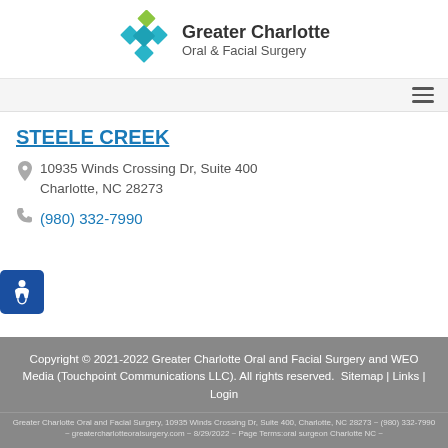[Figure (logo): Greater Charlotte Oral & Facial Surgery logo with teal and green diamond shape]
STEELE CREEK
10935 Winds Crossing Dr, Suite 400
Charlotte, NC 28273
(980) 332-7990
Copyright © 2021-2022 Greater Charlotte Oral and Facial Surgery and WEO Media (Touchpoint Communications LLC). All rights reserved.  Sitemap | Links | Login
Greater Charlotte Oral and Facial Surgery, 10935 Winds Crossing Dr, Suite 400, Charlotte, NC 28273 ~ (980) 332-7990 ~ greatercharlotteoralsurgery.com ~ 8/29/2022 ~ Page Terms:oral surgeon Charlotte NC ~